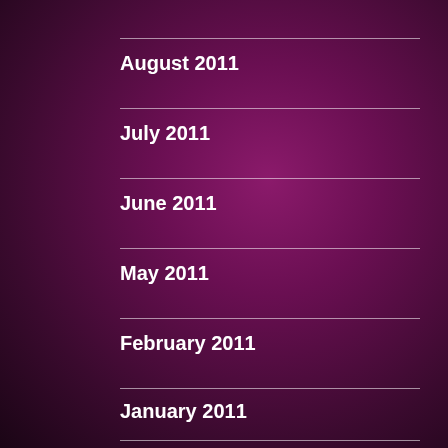August 2011
July 2011
June 2011
May 2011
February 2011
January 2011
December 2010